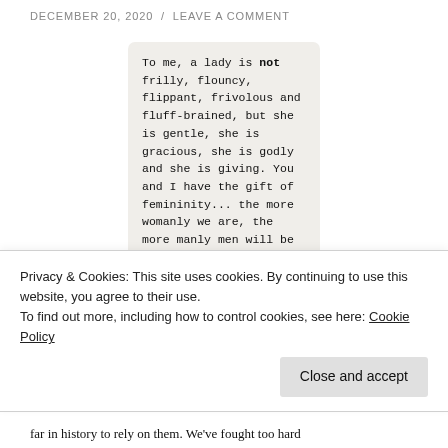DECEMBER 20, 2020 / LEAVE A COMMENT
[Figure (screenshot): A quote image with typewriter-style text on a light beige background with rounded corners. Text reads: 'To me, a lady is not frilly, flouncy, flippant, frivolous and fluff-brained, but she is gentle, she is gracious, she is godly and she is giving. You and I have the gift of femininity... the more womanly we are, the more manly men will be and the more God is glorified. Be women, be only']
Privacy & Cookies: This site uses cookies. By continuing to use this website, you agree to their use.
To find out more, including how to control cookies, see here: Cookie Policy
far in history to rely on them. We've fought too hard